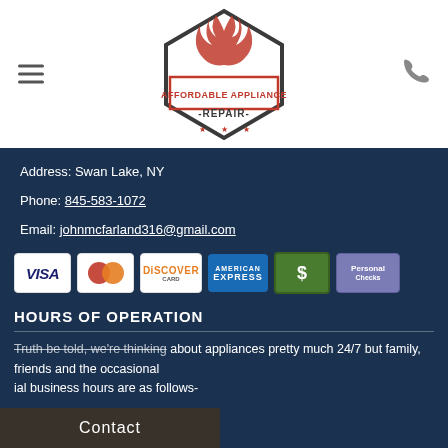[Figure (logo): Affordable Appliance Repair logo with wrench/flame icon and red text]
Address: Swan Lake, NY
Phone: 845-583-1072
Email: johnmcfarland316@gmail.com
[Figure (other): Payment method icons: Visa, MasterCard, Discover, American Express, Cash, Personal Checks]
HOURS OF OPERATION
Truth be told, we're thinking about appliances pretty much 24/7 but family, friends and the occasional business hours are as follows-